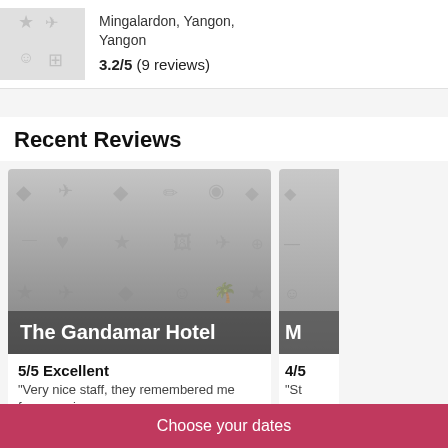Mingalardon, Yangon, Yangon
3.2/5 (9 reviews)
Recent Reviews
[Figure (photo): Hotel placeholder image for The Gandamar Hotel with overlay text]
5/5 Excellent
"Very nice staff, they remembered me from previous
4/5
"St
Choose your dates